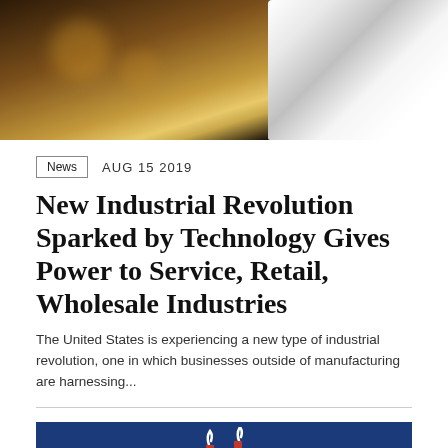[Figure (photo): Blurred background photo of a Starbucks coffee cup at the top of the page]
News   AUG 15 2019
New Industrial Revolution Sparked by Technology Gives Power to Service, Retail, Wholesale Industries
The United States is experiencing a new type of industrial revolution, one in which businesses outside of manufacturing are harnessing...
[Figure (illustration): Blue background banner with a red factory/industrial building icon in the center panel, split into three sections]